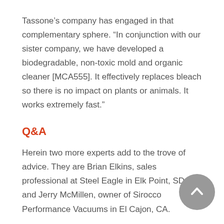Tassone’s company has engaged in that complementary sphere. “In conjunction with our sister company, we have developed a biodegradable, non-toxic mold and organic cleaner [MCA555]. It effectively replaces bleach so there is no impact on plants or animals. It works extremely fast.”
Q&A
Herein two more experts add to the trove of advice. They are Brian Elkins, sales professional at Steel Eagle in Elk Point, SD; and Jerry McMillen, owner of Sirocco Performance Vacuums in El Cajon, CA.
Cleaner Times [CT]: What is the first question a contractor should ask himself when choosing a surface cleaner?